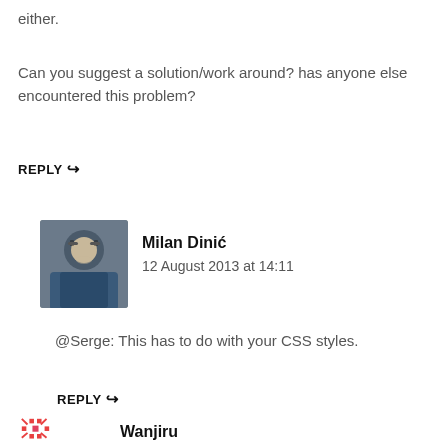either.
Can you suggest a solution/work around? has anyone else encountered this problem?
REPLY ↪
[Figure (photo): Avatar photo of Milan Dinić, a man with glasses wearing a blue shirt]
Milan Dinić
12 August 2013 at 14:11
@Serge: This has to do with your CSS styles.
REPLY ↪
[Figure (photo): Avatar icon for Wanjiru, a decorative cross/star pattern in red and pink colors]
Wanjiru